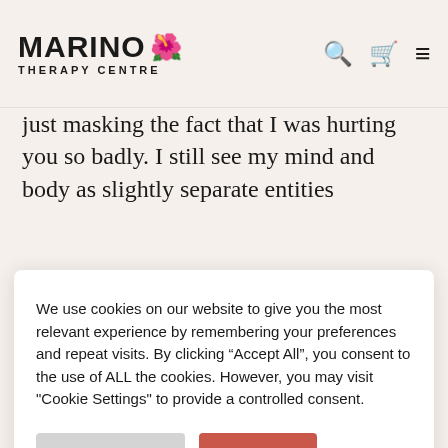MARINO THERAPY CENTRE
just masking the fact that I was hurting you so badly. I still see my mind and body as slightly separate entities
We use cookies on our website to give you the most relevant experience by remembering your preferences and repeat visits. By clicking “Accept All”, you consent to the use of ALL the cookies. However, you may visit "Cookie Settings" to provide a controlled consent.
allowing you the movement you craved and it’s only now that you are showing me the rewards of treating you like my best friend.
So I am sorry, but, I also understand and